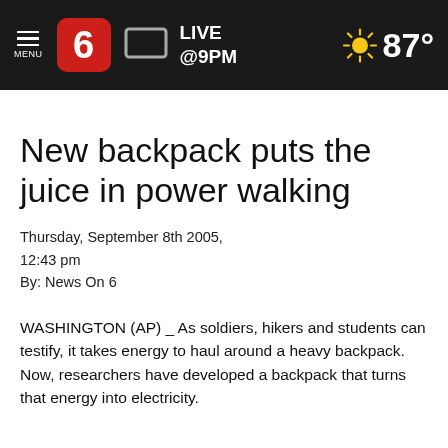MENU | 6 | LIVE @9PM | 87°
New backpack puts the juice in power walking
Thursday, September 8th 2005,
12:43 pm
By: News On 6
WASHINGTON (AP) _ As soldiers, hikers and students can testify, it takes energy to haul around a heavy backpack. Now, researchers have developed a backpack that turns that energy into electricity.